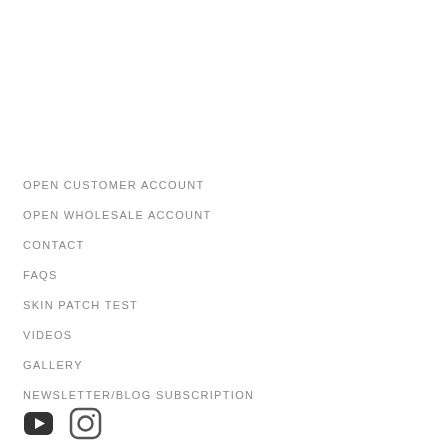OPEN CUSTOMER ACCOUNT
OPEN WHOLESALE ACCOUNT
CONTACT
FAQS
SKIN PATCH TEST
VIDEOS
GALLERY
NEWSLETTER/BLOG SUBSCRIPTION
[Figure (logo): YouTube icon (dark rounded rectangle with play triangle) and Instagram icon (rounded square camera outline), social media links]